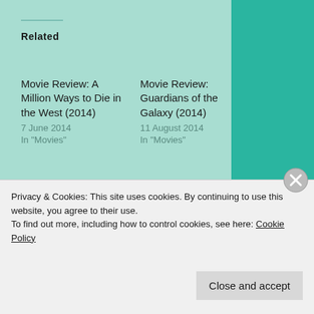Related
Movie Review: A Million Ways to Die in the West (2014)
7 June 2014
In "Movies"
Movie Review: Guardians of the Galaxy (2014)
11 August 2014
In "Movies"
Movie Review: Kingsman: The Secret Service (2014)
18 February 2015
In "Movies"
Privacy & Cookies: This site uses cookies. By continuing to use this website, you agree to their use.
To find out more, including how to control cookies, see here: Cookie Policy